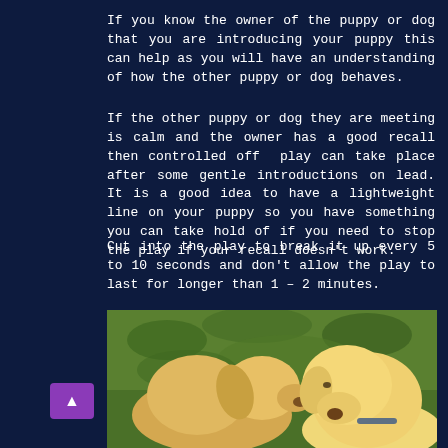If you know the owner of the puppy or dog that you are introducing your puppy this can help as you will have an understanding of how the other puppy or dog behaves.
If the other puppy or dog they are meeting is calm and the owner has a good recall then controlled off  play can take place after some gentle introductions on lead. It is a good idea to have a lightweight line on your puppy so you have something you can take hold of if you need to stop the play if your recall doesn't work.
Cut into the play to break it up every 5 to 10 seconds and don't allow the play to last for longer than 1 – 2 minutes.
[Figure (photo): Two golden/cream colored puppies sniffing each other on green grass]